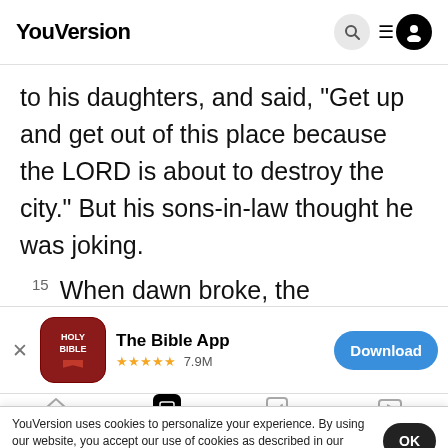YouVersion
to his daughters, and said, "Get up and get out of this place because the LORD is about to destroy the city." But his sons-in-law thought he was joking.
15 When dawn broke, the messengers urged Lot,
[Figure (screenshot): App banner for The Bible App with 5 stars and 7.9M rating and a Download button]
se of the evil in this city. He hesitate
becaus
grabbe
YouVersion uses cookies to personalize your experience. By using our website, you accept our use of cookies as described in our Privacy Policy.
Home   Bible   Plans   Videos